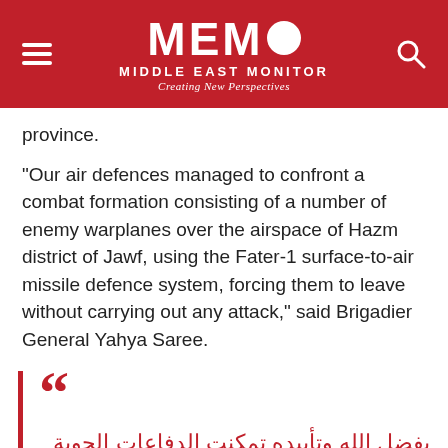MEMO - MIDDLE EAST MONITOR - Creating New Perspectives
province.
"Our air defences managed to confront a combat formation consisting of a number of enemy warplanes over the airspace of Hazm district of Jawf, using the Fater-1 surface-to-air missile defence system, forcing them to leave without carrying out any attack," said Brigadier General Yahya Saree.
بفضل الله وتأييده تمكنت الدفاعات الجوية في تمام الساعة 01:05 من التوقيت